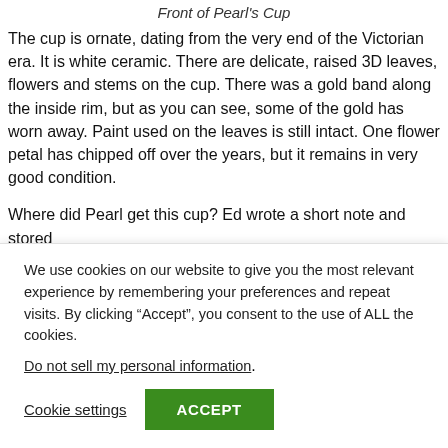Front of Pearl's Cup
The cup is ornate, dating from the very end of the Victorian era. It is white ceramic. There are delicate, raised 3D leaves, flowers and stems on the cup. There was a gold band along the inside rim, but as you can see, some of the gold has worn away. Paint used on the leaves is still intact. One flower petal has chipped off over the years, but it remains in very good condition.
Where did Pearl get this cup? Ed wrote a short note and stored
We use cookies on our website to give you the most relevant experience by remembering your preferences and repeat visits. By clicking “Accept”, you consent to the use of ALL the cookies.
Do not sell my personal information.
Cookie settings  ACCEPT